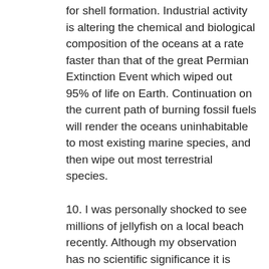for shell formation. Industrial activity is altering the chemical and biological composition of the oceans at a rate faster than that of the great Permian Extinction Event which wiped out 95% of life on Earth. Continuation on the current path of burning fossil fuels will render the oceans uninhabitable to most existing marine species, and then wipe out most terrestrial species.
10. I was personally shocked to see millions of jellyfish on a local beach recently. Although my observation has no scientific significance it is indicative of the 'death of the oceans' I have been reading about; we are transforming the oceans back to some primeval form, similar to that of 600 million years ago, wiping out the species (turtles, sunfish etc.) that feed on jellyfish and loading the oceans with toxins. I had